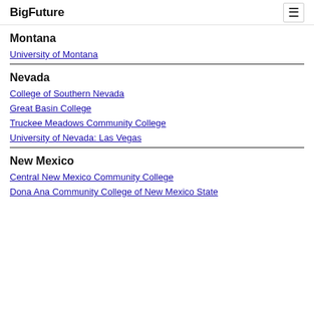BigFuture
Montana
University of Montana
Nevada
College of Southern Nevada
Great Basin College
Truckee Meadows Community College
University of Nevada: Las Vegas
New Mexico
Central New Mexico Community College
Dona Ana Community College of New Mexico State